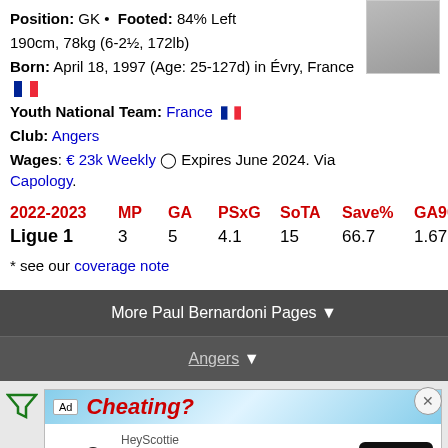Position: GK • Footed: 84% Left
190cm, 78kg (6-2½, 172lb)
Born: April 18, 1997 (Age: 25-127d) in Évry, France 🇫🇷
Youth National Team: France 🇫🇷
Club: Angers
Wages: € 23k Weekly ◯ Expires June 2024. Via Capology.
| 2022-2023 | MP | GA | PSxG | SoTA | Save% | GA90 |
| --- | --- | --- | --- | --- | --- | --- |
| Ligue 1 | 3 | 5 | 4.1 | 15 | 66.7 | 1.67 |
* see our coverage note
More Paul Bernardoni Pages ▼
Angers ▼
[Figure (screenshot): Advertisement banner for HeyScottie: 30% Off For A Limited Time with Open button]